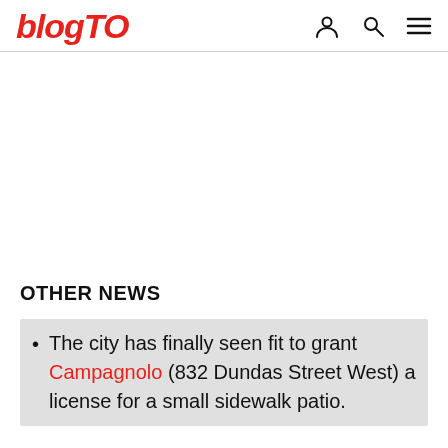blogTO
OTHER NEWS
The city has finally seen fit to grant Campagnolo (832 Dundas Street West) a license for a small sidewalk patio.